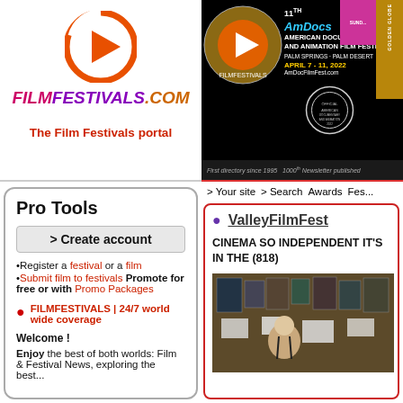[Figure (logo): FilmFestivals.com logo with orange circle play button icon above stylized text FILMFESTIVALS.COM in purple/magenta italic]
The Film Festivals portal
[Figure (photo): AmDocs 11th American Documentary and Animation Film Festival banner. Palm Springs - Palm Desert, April 7-11, 2022. AmDocFilmFest.com. First directory since 1995. 1000th Newsletter published.]
> Your site  > Search  Awards  Fes...
Pro Tools
> Create account
•Register a festival or a film
•Submit film to festivals Promote for free or with Promo Packages
FILMFESTIVALS | 24/7 world wide coverage
Welcome !
Enjoy the best of both worlds: Film & Festival News, exploring the best...
ValleyFilmFest
CINEMA SO INDEPENDENT IT'S IN THE (818)
[Figure (photo): Photo of a man sitting in front of a wall covered with film festival posters and papers]